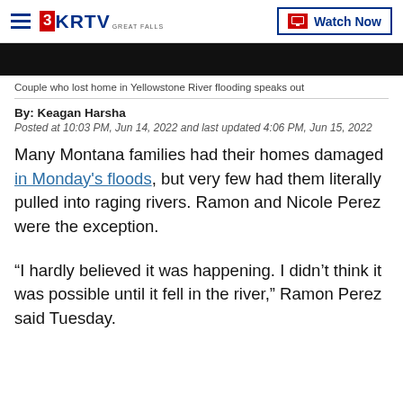3KRTV Great Falls | Watch Now
[Figure (screenshot): Black image strip, partially visible video thumbnail]
Couple who lost home in Yellowstone River flooding speaks out
By: Keagan Harsha
Posted at 10:03 PM, Jun 14, 2022 and last updated 4:06 PM, Jun 15, 2022
Many Montana families had their homes damaged in Monday's floods, but very few had them literally pulled into raging rivers. Ramon and Nicole Perez were the exception.
“I hardly believed it was happening. I didn’t think it was possible until it fell in the river,” Ramon Perez said Tuesday.